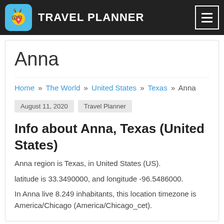TRAVEL PLANNER
Anna
Home » The World » United States » Texas » Anna
August 11, 2020   Travel Planner
Info about Anna, Texas (United States)
Anna region is Texas, in United States (US).
latitude is 33.3490000, and longitude -96.5486000.
In Anna live 8.249 inhabitants, this location timezone is America/Chicago (America/Chicago_cet).